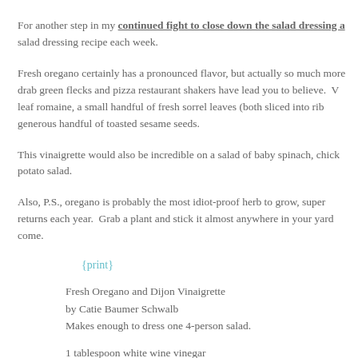For another step in my continued fight to close down the salad dressing a salad dressing recipe each week.
Fresh oregano certainly has a pronounced flavor, but actually so much more drab green flecks and pizza restaurant shakers have lead you to believe. leaf romaine, a small handful of fresh sorrel leaves (both sliced into rib generous handful of toasted sesame seeds.
This vinaigrette would also be incredible on a salad of baby spinach, chick potato salad.
Also, P.S., oregano is probably the most idiot-proof herb to grow, super returns each year. Grab a plant and stick it almost anywhere in your yard come.
{print}
Fresh Oregano and Dijon Vinaigrette
by Catie Baumer Schwalb
Makes enough to dress one 4-person salad.
1 tablespoon white wine vinegar
1 1/2 teaspoon dijon mustard
2 teaspoons finely chopped fresh oregano leaves
salt and fresh ground black pepper to taste